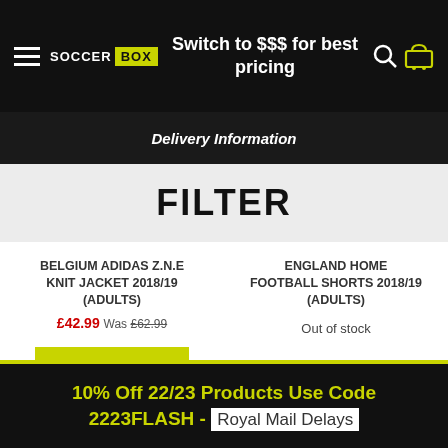SOCCER BOX — Switch to $$$ for best pricing
Delivery Information
FILTER
BELGIUM ADIDAS Z.N.E KNIT JACKET 2018/19 (ADULTS)
£42.99 Was £62.99
ENGLAND HOME FOOTBALL SHORTS 2018/19 (ADULTS)
Out of stock
ADD TO BASKET
10% Off 22/23 Products Use Code 2223FLASH - Royal Mail Delays